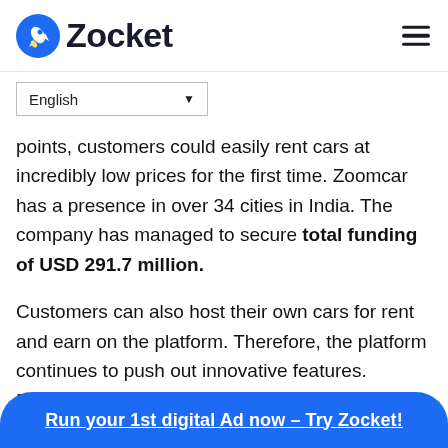Zocket
English
points, customers could easily rent cars at incredibly low prices for the first time. Zoomcar has a presence in over 34 cities in India. The company has managed to secure total funding of USD 291.7 million.
Customers can also host their own cars for rent and earn on the platform. Therefore, the platform continues to push out innovative features.
Recently, Zoomcar has partnered with Ford and
Run your 1st digital Ad now – Try Zocket!